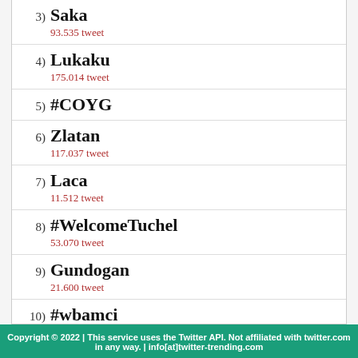3) Saka
93.535 tweet
4) Lukaku
175.014 tweet
5) #COYG
6) Zlatan
117.037 tweet
7) Laca
11.512 tweet
8) #WelcomeTuchel
53.070 tweet
9) Gundogan
21.600 tweet
10) #wbamci
13.475 tweet
Copyright © 2022 | This service uses the Twitter API. Not affiliated with twitter.com in any way. | info[at]twitter-trending.com